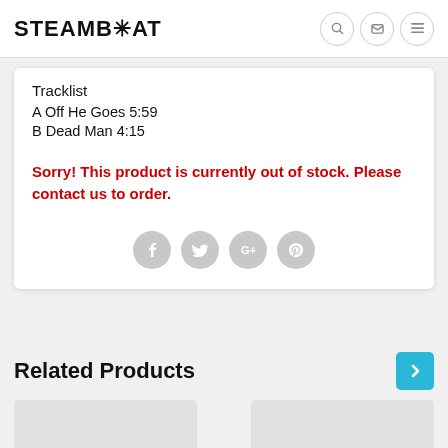STEAMB*AT
Tracklist
A Off He Goes 5:59
B Dead Man 4:15
Sorry! This product is currently out of stock. Please contact us to order.
[Figure (infographic): Social share icons: Facebook, Twitter, Google+, Pinterest — grey circles]
Related Products
[Figure (photo): Two product thumbnail images, partially visible at bottom of page]